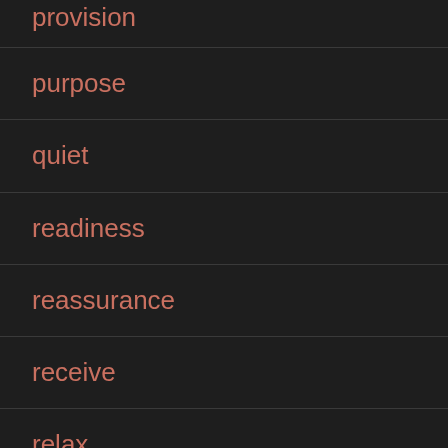provision
purpose
quiet
readiness
reassurance
receive
relax
rely on God
renewal